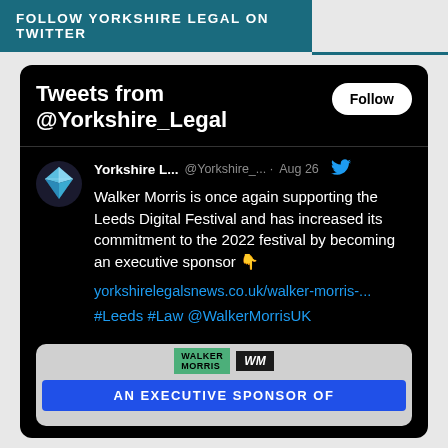FOLLOW YORKSHIRE LEGAL ON TWITTER
[Figure (screenshot): Twitter widget showing tweets from @Yorkshire_Legal on a dark/black background with a Follow button. A tweet from Yorkshire L... (@Yorkshire_... · Aug 26) reads: Walker Morris is once again supporting the Leeds Digital Festival and has increased its commitment to the 2022 festival by becoming an executive sponsor 👇. Link: yorkshirelegalsnews.co.uk/walker-morris-... Hashtags: #Leeds #Law @WalkerMorrisUK. Below is an image showing Walker Morris logo and a blue banner reading AN EXECUTIVE SPONSOR OF.]